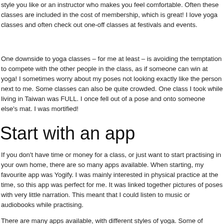style you like or an instructor who makes you feel comfortable. Often these classes are included in the cost of membership, which is great! I love yoga classes and often check out one-off classes at festivals and events.
One downside to yoga classes – for me at least – is avoiding the temptation to compete with the other people in the class, as if someone can win at yoga! I sometimes worry about my poses not looking exactly like the person next to me. Some classes can also be quite crowded. One class I took while living in Taiwan was FULL. I once fell out of a pose and onto someone else's mat. I was mortified!
Start with an app
If you don't have time or money for a class, or just want to start practising in your own home, there are so many apps available. When starting, my favourite app was Yogify. I was mainly interested in physical practice at the time, so this app was perfect for me. It was linked together pictures of poses with very little narration. This meant that I could listen to music or audiobooks while practising.
There are many apps available, with different styles of yoga. Some of